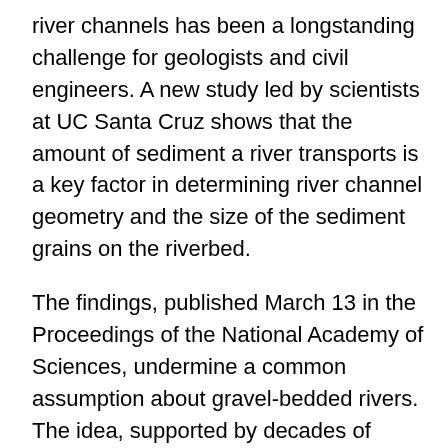river channels has been a longstanding challenge for geologists and civil engineers. A new study led by scientists at UC Santa Cruz shows that the amount of sediment a river transports is a key factor in determining river channel geometry and the size of the sediment grains on the riverbed.
The findings, published March 13 in the Proceedings of the National Academy of Sciences, undermine a common assumption about gravel-bedded rivers. The idea, supported by decades of observations, is that gravel-bedded rivers reach an equilibrium, called a threshold channel, where the median-sized grains on the riverbed only start to move when the channel is full (the “bankfull flow” stage, just short of flooding).
“If all channels are threshold channels, that’s convenient because it helps us make predictions for management decisions and for modeling landscape evolution,” said first